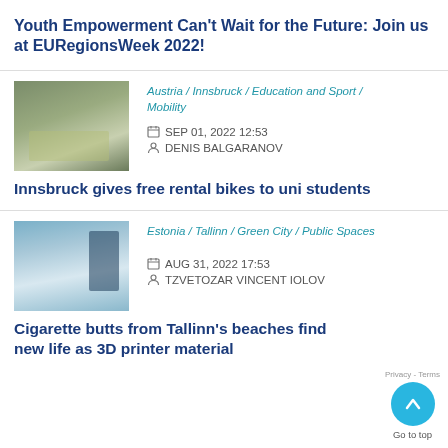Youth Empowerment Can't Wait for the Future: Join us at EURegionsWeek 2022!
[Figure (photo): Outdoor photo showing rental bicycles parked on a street or plaza in Innsbruck]
Austria / Innsbruck / Education and Sport / Mobility
SEP 01, 2022 12:53
DENIS BALGARANOV
Innsbruck gives free rental bikes to uni students
[Figure (photo): Outdoor photo showing a public charging or recycling station on a beach in Tallinn, Estonia]
Estonia / Tallinn / Green City / Public Spaces
AUG 31, 2022 17:53
TZVETOZAR VINCENT IOLOV
Cigarette butts from Tallinn's beaches find new life as 3D printer material